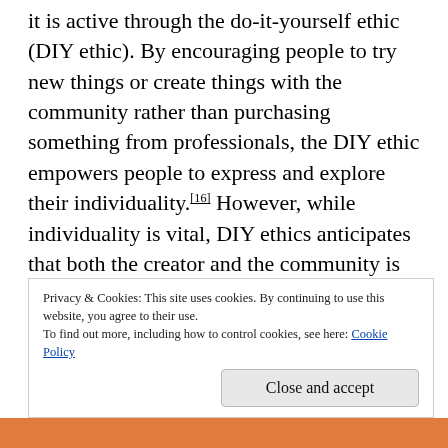it is active through the do-it-yourself ethic (DIY ethic). By encouraging people to try new things or create things with the community rather than purchasing something from professionals, the DIY ethic empowers people to express and explore their individuality.[16] However, while individuality is vital, DIY ethics anticipates that both the creator and the community is transformed through this process.[17] If irreverence is a present response to suppression, then punk amateurism and DIY
Privacy & Cookies: This site uses cookies. By continuing to use this website, you agree to their use.
To find out more, including how to control cookies, see here: Cookie Policy
Close and accept